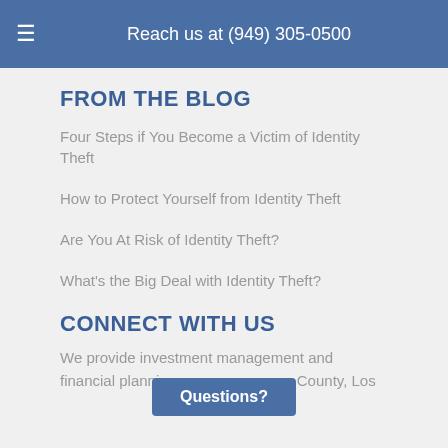Reach us at (949) 305-0500
FROM THE BLOG
Four Steps if You Become a Victim of Identity Theft
How to Protect Yourself from Identity Theft
Are You At Risk of Identity Theft?
What's the Big Deal with Identity Theft?
CONNECT WITH US
We provide investment management and financial planning … ge County, Los
Questions?